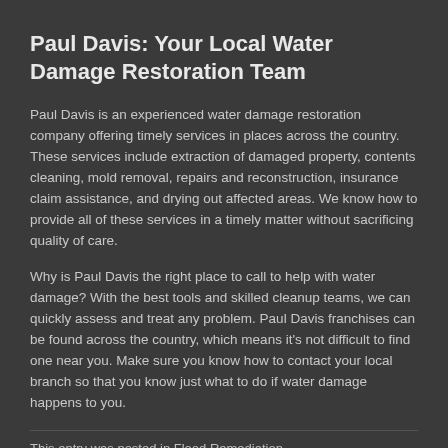Paul Davis: Your Local Water Damage Restoration Team
Paul Davis is an experienced water damage restoration company offering timely services in places across the country. These services include extraction of damaged property, contents cleaning, mold removal, repairs and reconstruction, insurance claim assistance, and drying out affected areas. We know how to provide all of these services in a timely matter without sacrificing quality of care.
Why is Paul Davis the right place to call to help with water damage? With the best tools and skilled cleanup teams, we can quickly assess and treat any problem. Paul Davis franchises can be found across the country, which means it's not difficult to find one near you. Make sure you know how to contact your local branch so that you know just what to do if water damage happens to you.
This entry was posted in Flood Remediation